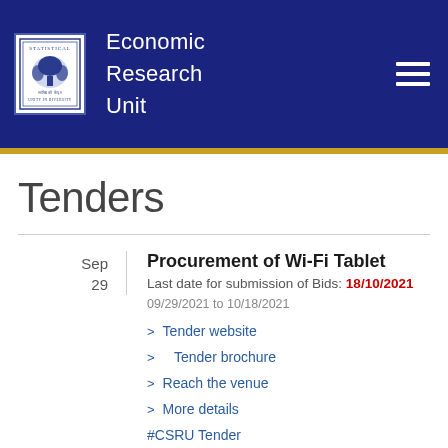Economic Research Unit
Tenders
Sep 29
Procurement of Wi-Fi Tablet
Last date for submission of Bids: 18/10/2021
09/29/2021 to 10/18/2021
> Tender website
> Tender brochure
> Reach the venue
> More details
#CSRU Tender